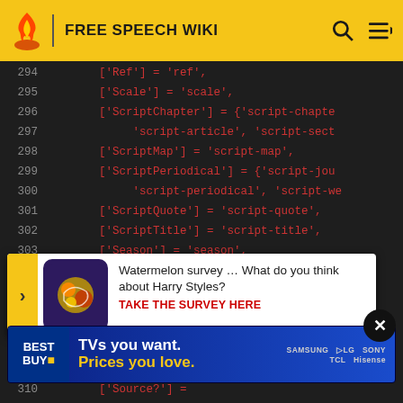FREE SPEECH WIKI
[Figure (screenshot): Code block showing lines 294-313 of a script/code file with string mappings in dark theme. Lines shown: 294 ['Ref'] = 'ref', 295 ['Scale'] = 'scale', 296 ['ScriptChapter'] = {'script-chapter'..., 297 'script-article', 'script-section'..., 298 ['ScriptMap'] = 'script-map', 299 ['ScriptPeriodical'] = {'script-journal'..., 300 'script-periodical', 'script-we'..., 301 ['ScriptQuote'] = 'script-quote', 302 ['ScriptTitle'] = 'script-title', 303 ['Season'] = 'season', 304 ['Sections'] = 'sections'..., 305 ...n'}, 306 ..., 307 ...ber, 308 ..., 309 ['Sheets'] = 'sheets', 310 ['Source?'] ..., 311 ..., 312 ...ion', 313 ['Title'] = 'title',]
[Figure (infographic): Watermelon survey popup overlay: 'Watermelon survey ... What do you think about Harry Styles? TAKE THE SURVEY HERE']
[Figure (infographic): Best Buy advertisement banner: 'TVs you want. Prices you love.' with Samsung, LG, Sony, TCL, Hisense brand logos]
[Figure (other): Black circular close/dismiss button with X]